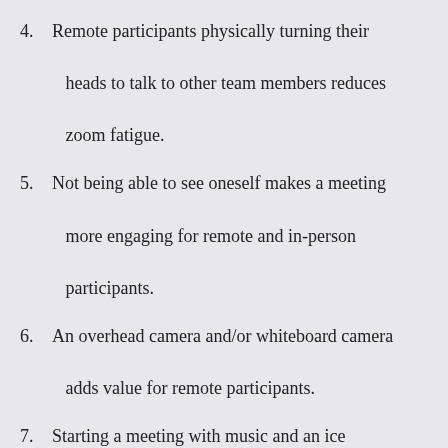4. Remote participants physically turning their heads to talk to other team members reduces zoom fatigue.
5. Not being able to see oneself makes a meeting more engaging for remote and in-person participants.
6. An overhead camera and/or whiteboard camera adds value for remote participants.
7. Starting a meeting with music and an ice breaker increases participant engagement and catches all audio/technical difficulties in the first